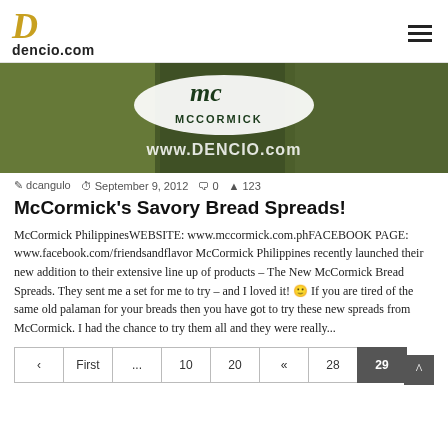dencio.com
[Figure (photo): McCormick product photo with watermark www.DENCIO.com on a green background]
dcangulo   September 9, 2012   0   123
McCormick's Savory Bread Spreads!
McCormick PhilippinesWEBSITE: www.mccormick.com.phFACEBOOK PAGE: www.facebook.com/friendsandflavor McCormick Philippines recently launched their new addition to their extensive line up of products – The New McCormick Bread Spreads. They sent me a set for me to try – and I loved it! 🙂 If you are tired of the same old palaman for your breads then you have got to try these new spreads from McCormick. I had the chance to try them all and they were really...
< First ... 10 20 « 28 29